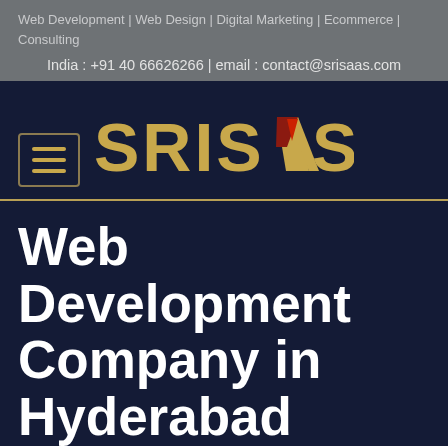Web Development | Web Design | Digital Marketing | Ecommerce | Consulting
India : +91 40 66626266 | email : contact@srisaas.com
[Figure (logo): SRISAAS logo in gold/amber text with a red and gold arrow/chevron symbol replacing the second 'A', on dark navy background. Hamburger menu icon in bottom left.]
Web Development Company in Hyderabad